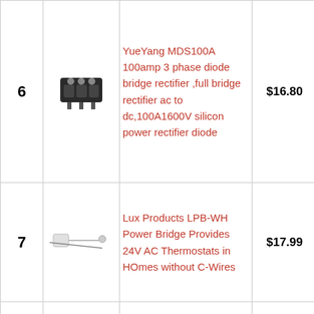| # | Image | Product | Price |  |
| --- | --- | --- | --- | --- |
| 6 | [image] | YueYang MDS100A 100amp 3 phase diode bridge rectifier ,full bridge rectifier ac to dc,100A1600V silicon power rectifier diode | $16.80 | [button] |
| 7 | [image] | Lux Products LPB-WH Power Bridge Provides 24V AC Thermostats in HOmes without C-Wires | $17.99 | [button] |
|  |  | UpBright 5V AC/DC Adapter Compatible with |  |  |